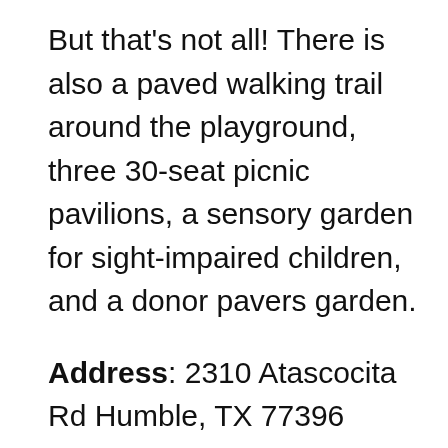But that's not all! There is also a paved walking trail around the playground, three 30-seat picnic pavilions, a sensory garden for sight-impaired children, and a donor pavers garden.
Address: 2310 Atascocita Rd Humble, TX 77396
Hours: 6 a.m. to 10:30 p.m.  – Tournaments can affect the closing time...